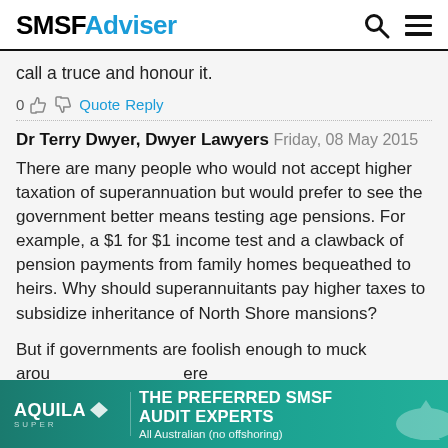SMSF Adviser
call a truce and honour it.
0  Quote  Reply
Dr Terry Dwyer, Dwyer Lawyers  Friday, 08 May 2015
There are many people who would not accept higher taxation of superannuation but would prefer to see the government better means testing age pensions. For example, a $1 for $1 income test and a clawback of pension payments from family homes bequeathed to heirs. Why should superannuitants pay higher taxes to subsidize inheritance of North Shore mansions?
But if governments are foolish enough to muck around there are some...
[Figure (other): Advertisement banner for Aquila Super: THE PREFERRED SMSF AUDIT EXPERTS. All Australian (no offshoring)]